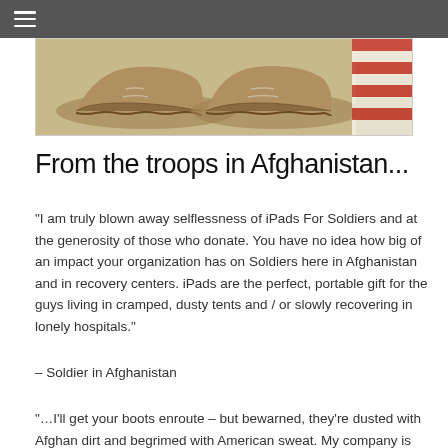≡
[Figure (photo): Photo of worn military boots dusted with dirt, placed on a surface with an American flag visible in the background]
From the troops in Afghanistan...
“I am truly blown away selflessness of iPads For Soldiers and at the generosity of those who donate. You have no idea how big of an impact your organization has on Soldiers here in Afghanistan and in recovery centers. iPads are the perfect, portable gift for the guys living in cramped, dusty tents and / or slowly recovering in lonely hospitals.”
– Soldier in Afghanistan
“…I’ll get your boots enroute – but bewarned, they’re dusted with Afghan dirt and begrimed with American sweat. My company is stationed out of Ft Knox, KY. We’re currently